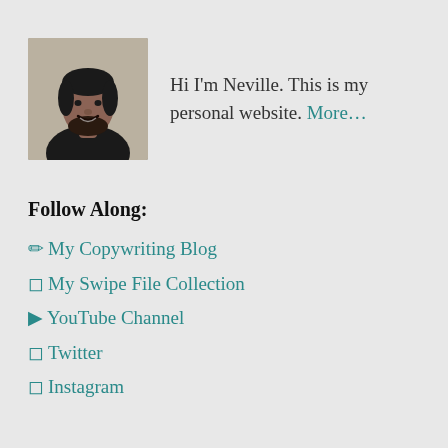[Figure (photo): Photo of Neville, a smiling man with dark hair and beard wearing a black shirt, photographed against a light grey/wood background]
Hi I'm Neville. This is my personal website. More…
Follow Along:
✏ My Copywriting Blog
□ My Swipe File Collection
▶ YouTube Channel
□ Twitter
□ Instagram